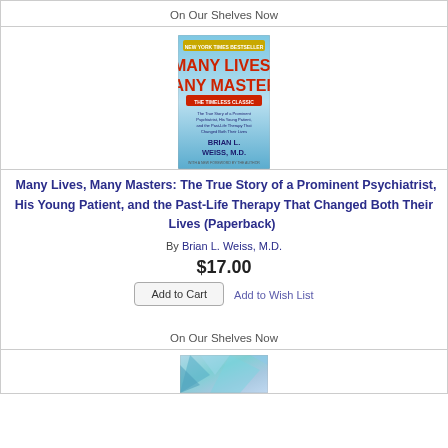On Our Shelves Now
[Figure (photo): Book cover of 'Many Lives, Many Masters' by Brian L. Weiss, M.D. — New York Times Bestseller, featuring blue and white gradient background with red and white title text.]
Many Lives, Many Masters: The True Story of a Prominent Psychiatrist, His Young Patient, and the Past-Life Therapy That Changed Both Their Lives (Paperback)
By Brian L. Weiss, M.D.
$17.00
Add to Wish List
Add to Cart
On Our Shelves Now
[Figure (photo): Partial view of another book cover with blue and teal abstract/artistic illustration.]